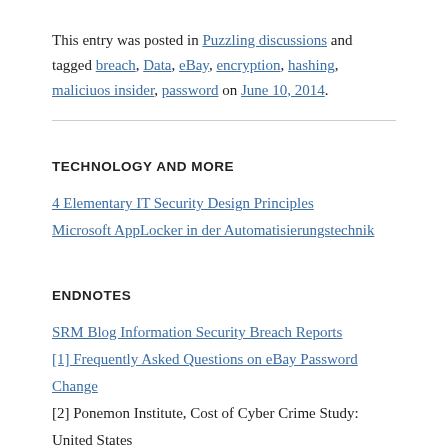This entry was posted in Puzzling discussions and tagged breach, Data, eBay, encryption, hashing, maliciuos insider, password on June 10, 2014.
TECHNOLOGY AND MORE
4 Elementary IT Security Design Principles
Microsoft AppLocker in der Automatisierungstechnik
ENDNOTES
SRM Blog Information Security Breach Reports
[1] Frequently Asked Questions on eBay Password Change
[2] Ponemon Institute, Cost of Cyber Crime Study: United States